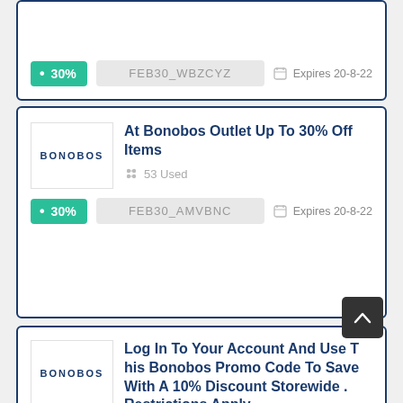[Figure (other): Partial coupon card showing 30% tag badge, code FEB30_WBZCYZ, Expires 20-8-22]
At Bonobos Outlet Up To 30% Off Items
53 Used
FEB30_AMVBNC  Expires 20-8-22
Log In To Your Account And Use This Bonobos Promo Code To Save With A 10% Discount Storewide . Restrictions Apply
81 Used
Get Deal  Expires 20-7-22